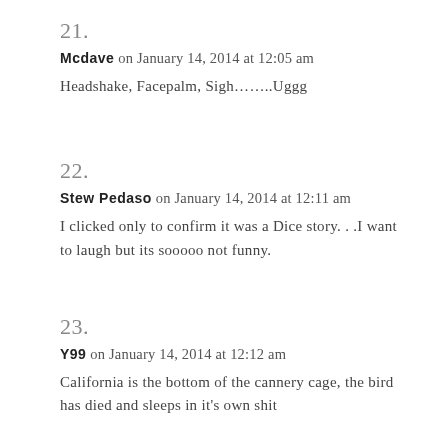21.
Mcdave on January 14, 2014 at 12:05 am
Headshake, Facepalm, Sigh……..Uggg
22.
Stew Pedaso on January 14, 2014 at 12:11 am
I clicked only to confirm it was a Dice story. . .I want to laugh but its sooooo not funny.
23.
Y99 on January 14, 2014 at 12:12 am
California is the bottom of the cannery cage, the bird has died and sleeps in it's own shit
24.